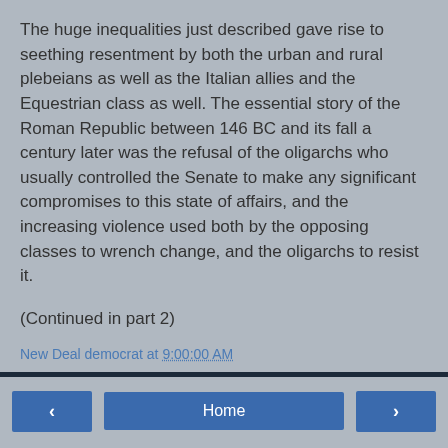The huge inequalities just described gave rise to seething resentment by both the urban and rural plebeians as well as the Italian allies and the Equestrian class as well. The essential story of the Roman Republic between 146 BC and its fall a century later was the refusal of the oligarchs who usually controlled the Senate to make any significant compromises to this state of affairs, and the increasing violence used both by the opposing classes to wrench change, and the oligarchs to resist it.
(Continued in part 2)
New Deal democrat at 9:00:00 AM
Powered by Blogger.